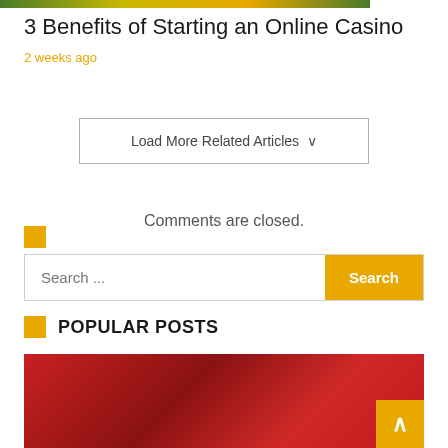[Figure (photo): Decorative colored strip at top (green, yellow, orange gradient)]
3 Benefits of Starting an Online Casino
2 weeks ago
Load More Related Articles
Comments are closed.
[Figure (other): Orange square decorative element]
Search ...
POPULAR POSTS
[Figure (photo): Photo of person wearing red clothing, hands visible]